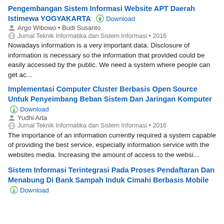Pengembangan Sistem Informasi Website APT Daerah Istimewa YOGYAKARTA
Download
Argo Wibowo • Budi Susanto
Jurnal Teknik Informatika dan Sistem Informasi • 2016
Nowadays information is a very important data. Disclosure of information is necessary so the information that provided could be easily accessed by the public. We need a system where people can get ac...
Implementasi Computer Cluster Berbasis Open Source Untuk Penyeimbang Beban Sistem Dan Jaringan Komputer
Download
Yudhi Arta
Jurnal Teknik Informatika dan Sistem Informasi • 2016
The importance of an information currently required a system capable of providing the best service, especially information service with the websites media. Increasing the amount of access to the websi...
Sistem Informasi Terintegrasi Pada Proses Pendaftaran Dan Menabung Di Bank Sampah Induk Cimahi Berbasis Mobile
Download